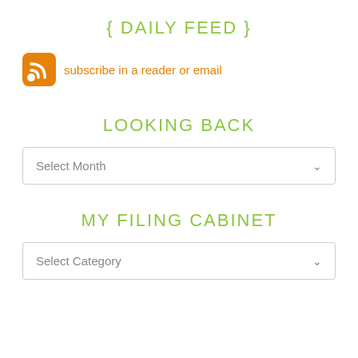{ DAILY FEED }
[Figure (logo): RSS feed icon — orange rounded square with white RSS signal waves]
subscribe in a reader or email
LOOKING BACK
Select Month
MY FILING CABINET
Select Category